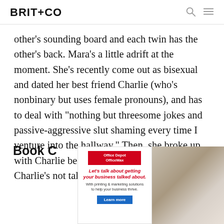BRIT+CO
other's sounding board and each twin has the other's back. Mara's a little adrift at the moment. She's recently come out as bisexual and dated her best friend Charlie (who's nonbinary but uses female pronouns), and has to deal with “nothing but threesome jokes and passive-aggressive slut shaming every time I venture into the hallway.” Then, she broke up with Charlie before things got too serious. Now Charlie’s not talking to her.
[Figure (screenshot): Office Depot OfficeMax advertisement with text: Let's talk about getting your business talked about. With printing & marketing solutions to help your business thrive. Learn more button. Right side shows a photo of business stationery and a woman.]
Book C